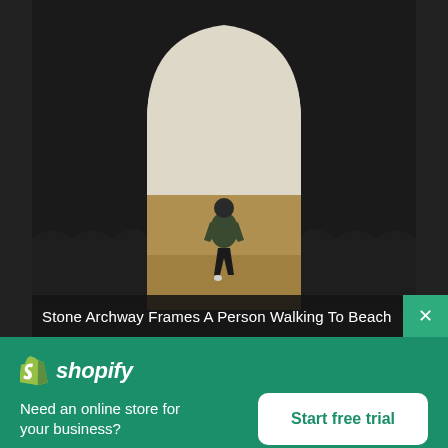[Figure (photo): A person viewed from behind walking through a stone archway toward a beach/open landscape. The photo is dark with the stone arch framing the bright outdoor scene.]
Stone Archway Frames A Person Walking To Beach
[Figure (logo): Shopify logo with bag icon and italic shopify text]
Need an online store for your business?
Start free trial